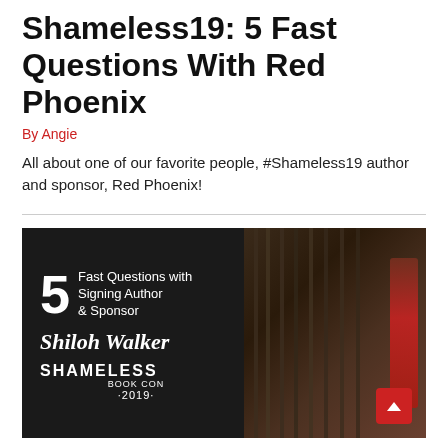Shameless19: 5 Fast Questions With Red Phoenix
By Angie
All about one of our favorite people, #Shameless19 author and sponsor, Red Phoenix!
[Figure (photo): Promotional image for Shameless Book Con 2019 showing '5 Fast Questions with Signing Author & Sponsor Shiloh Walker' text on a dark background, with a person visible through cage/bar-like structures on the right side.]